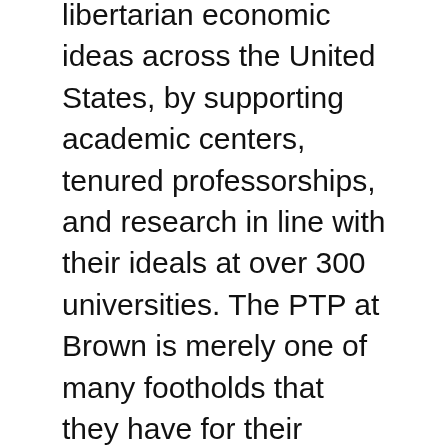libertarian economic ideas across the United States, by supporting academic centers, tenured professorships, and research in line with their ideals at over 300 universities. The PTP at Brown is merely one of many footholds that they have for their economic and educational agenda.
Tomasi has been linked to these right-wing donors for decades, and he's continued to reach out to them to help fund the PTP during his time at Brown. His PhD at Oxford was funded by the John M. Olin Foundation, a conservative American grant-making